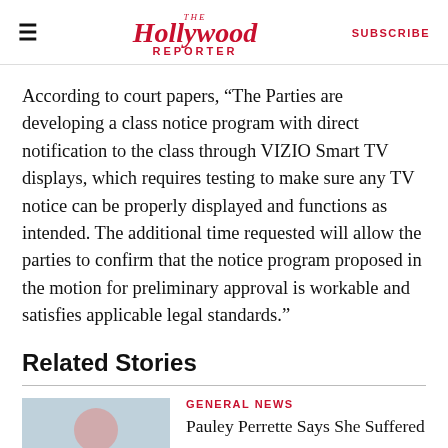The Hollywood Reporter — SUBSCRIBE
According to court papers, “The Parties are developing a class notice program with direct notification to the class through VIZIO Smart TV displays, which requires testing to make sure any TV notice can be properly displayed and functions as intended. The additional time requested will allow the parties to confirm that the notice program proposed in the motion for preliminary approval is workable and satisfies applicable legal standards.”
Related Stories
GENERAL NEWS
Pauley Perrette Says She Suffered a